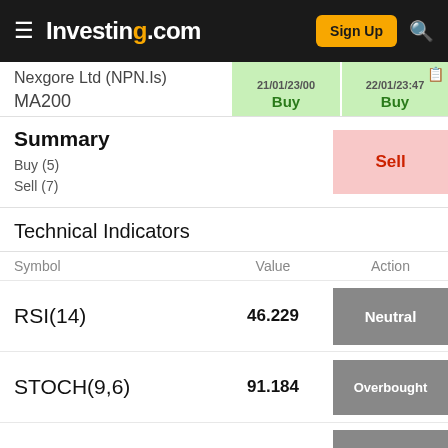Investing.com  Sign Up
Nexgore Ltd (NPN.Is)  MA200  Buy  Buy
| Symbol | Value | Action |
| --- | --- | --- |
| Summary | Buy (5) Sell (7) | Sell |
| RSI(14) | 46.229 | Neutral |
| STOCH(9,6) | 91.184 | Overbought |
| STOCHRSI(14) | 23.255 | Oversold |
Technical Indicators